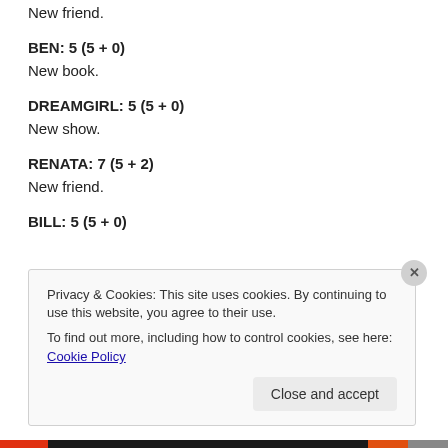New friend.
BEN: 5 (5 + 0)
New book.
DREAMGIRL: 5 (5 + 0)
New show.
RENATA: 7 (5 + 2)
New friend.
BILL: 5 (5 + 0)
Privacy & Cookies: This site uses cookies. By continuing to use this website, you agree to their use.
To find out more, including how to control cookies, see here: Cookie Policy